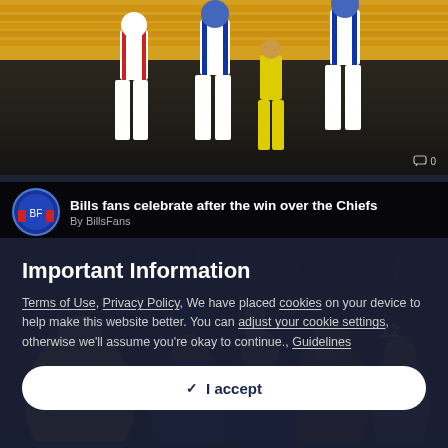[Figure (photo): Football players in white Bills uniforms on the field at a night game, with colorful stadium seating visible in background.]
[Figure (photo): Bills fans celebrating in the rain in the stands after a win over the Chiefs, many wearing blue and yellow rain gear.]
Bills fans celebrate after the win over the Chiefs
By BillsFans
Important Information
Terms of Use, Privacy Policy, We have placed cookies on your device to help make this website better. You can adjust your cookie settings, otherwise we'll assume you're okay to continue., Guidelines
✓  I accept